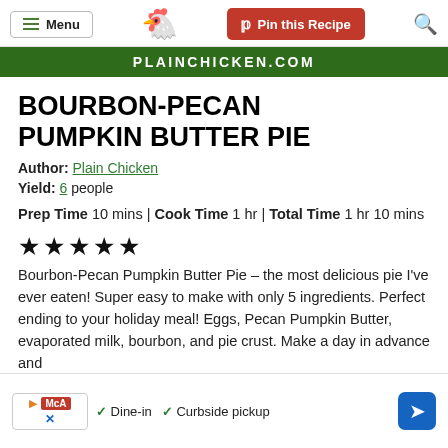Menu | Plain Chicken logo | Pin this Recipe | Search
PLAINCHICKEN.COM
BOURBON-PECAN PUMPKIN BUTTER PIE
Author: Plain Chicken
Yield: 6 people
Prep Time 10 mins | Cook Time 1 hr | Total Time 1 hr 10 mins
★★★★★
Bourbon-Pecan Pumpkin Butter Pie – the most delicious pie I've ever eaten! Super easy to make with only 5 ingredients. Perfect ending to your holiday meal! Eggs, Pecan Pumpkin Butter, evaporated milk, bourbon, and pie crust. Make a day in advance and refrigerate… home… pumpkin
[Figure (other): Advertisement overlay with McA logo, Dine-in and Curbside pickup options, and navigation arrow]